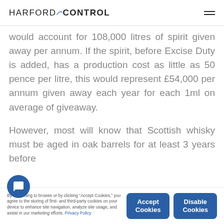HARFORD CONTROL
would account for 108,000 litres of spirit given away per annum. If the spirit, before Excise Duty is added, has a production cost as little as 50 pence per litre, this would represent £54,000 per annum given away each year for each 1ml on average of giveaway.
However, most will know that Scottish whisky must be aged in oak barrels for at least 3 years before
By continuing to browse or by clicking "Accept Cookies," you agree to the storing of first- and third-party cookies on your device to enhance site navigation, analyze site usage, and assist in our marketing efforts. Privacy Policy